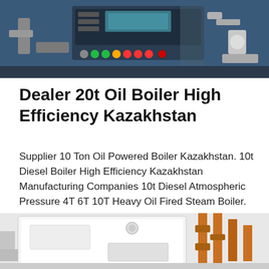[Figure (photo): Industrial boiler control panel with blue housing, multiple colored buttons and indicators, and pipe fittings on the sides]
Dealer 20t Oil Boiler High Efficiency Kazakhstan
Supplier 10 Ton Oil Powered Boiler Kazakhstan. 10t Diesel Boiler High Efficiency Kazakhstan Manufacturing Companies 10t Diesel Atmospheric Pressure 4T 6T 10T Heavy Oil Fired Steam Boiler. Boiler top 10 condensing…
[Figure (photo): White wall-mounted boiler unit with orange copper pipes on the right side and control components visible]